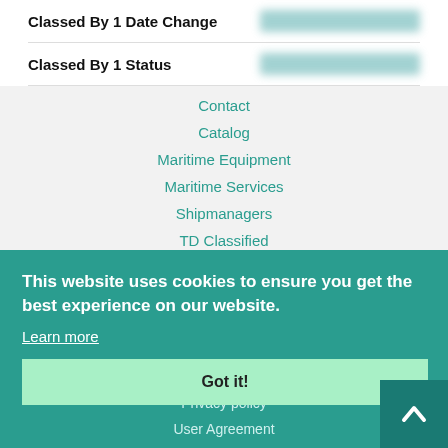Classed By 1 Date Change
Classed By 1 Status
Contact
Catalog
Maritime Equipment
Maritime Services
Shipmanagers
TD Classified
eBook
Packages
Link to us
Partners
Terms & conditions
Privacy policy
User Agreement
FAQ for Confidentiality and Data Privcay
This website uses cookies to ensure you get the best experience on our website.
Learn more
Got it!